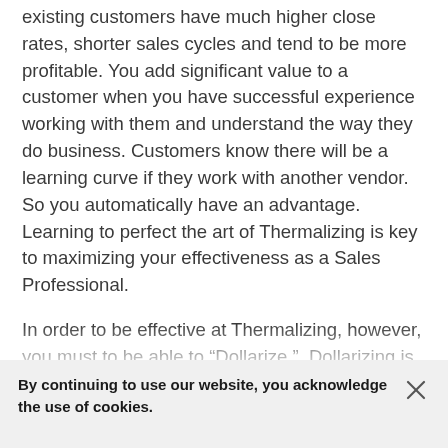existing customers have much higher close rates, shorter sales cycles and tend to be more profitable. You add significant value to a customer when you have successful experience working with them and understand the way they do business. Customers know there will be a learning curve if they work with another vendor. So you automatically have an advantage. Learning to perfect the art of Thermalizing is key to maximizing your effectiveness as a Sales Professional.
In order to be effective at Thermalizing, however, you must to be able to “Dollarize.”  Dollarizing is the art of quantifying your worth as a sales
By continuing to use our website, you acknowledge the use of cookies.